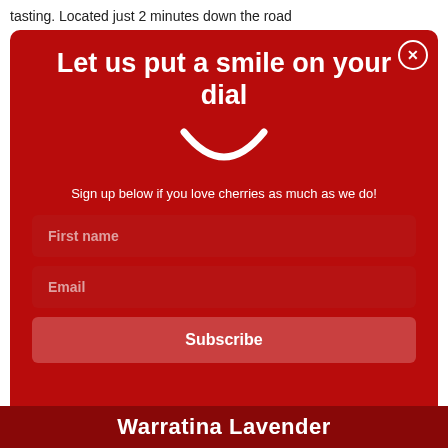tasting. Located just 2 minutes down the road
[Figure (screenshot): Red modal popup with a smile icon, newsletter sign-up form with First name and Email fields and a Subscribe button]
Let us put a smile on your dial
Sign up below if you love cherries as much as we do!
Warratina Lavender